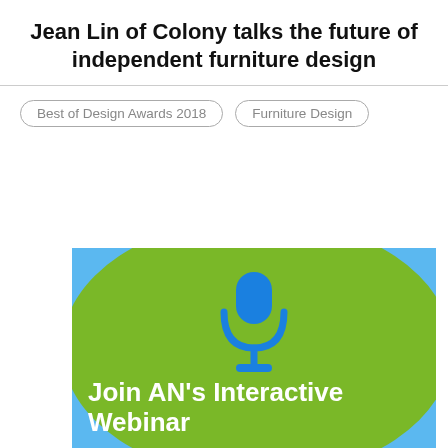Jean Lin of Colony talks the future of independent furniture design
Best of Design Awards 2018
Furniture Design
[Figure (illustration): Promotional banner with blue background, green oval shape, blue microphone icon, and white bold text reading 'Join AN's Interactive Webinar']